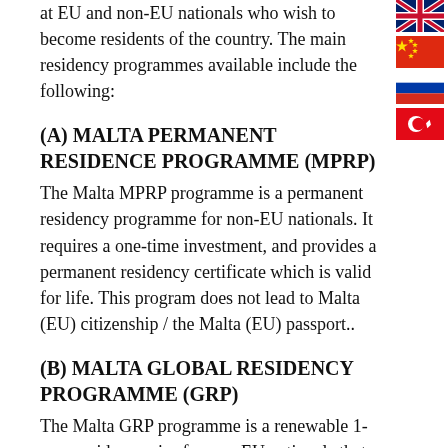at EU and non-EU nationals who wish to become residents of the country. The main residency programmes available include the following:
(A) MALTA PERMANENT RESIDENCE PROGRAMME (MPRP)
The Malta MPRP programme is a permanent residency programme for non-EU nationals. It requires a one-time investment, and provides a permanent residency certificate which is valid for life. This program does not lead to Malta (EU) citizenship / the Malta (EU) passport..
(B) MALTA GLOBAL RESIDENCY PROGRAMME (GRP)
The Malta GRP programme is a renewable 1-year residency visa for non-EU nationals that offers visa-free Schengen travel benefits and special tax advantages. This program does not